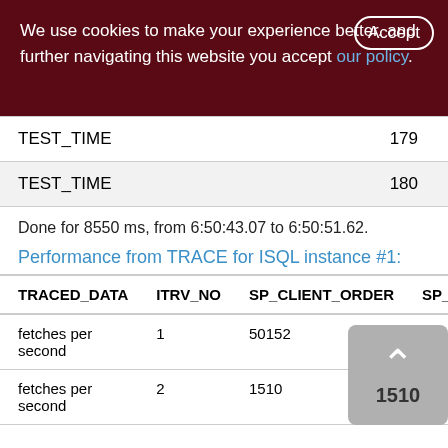We use cookies to make your experience better. By accepting and further navigating this website you accept our policy.
|  |  |
| --- | --- |
| TEST_TIME | 179 |
| TEST_TIME | 180 |
Done for 8550 ms, from 6:50:43.07 to 6:50:51.62.
Performance from TRACE for ISQL instance #1:
| TRACED_DATA | ITRV_NO | SP_CLIENT_ORDER | SP_ |
| --- | --- | --- | --- |
| fetches per second | 1 | 50152 |  |
| fetches per second | 2 | 1510 |  |